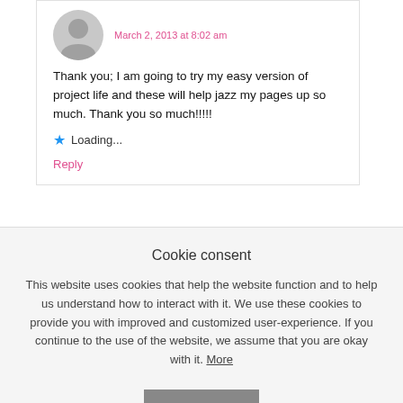March 2, 2013 at 8:02 am
Thank you; I am going to try my easy version of project life and these will help jazz my pages up so much. Thank you so much!!!!!
Loading...
Reply
Melissa says
Cookie consent
This website uses cookies that help the website function and to help us understand how to interact with it. We use these cookies to provide you with improved and customized user-experience. If you continue to the use of the website, we assume that you are okay with it. More
GOT IT